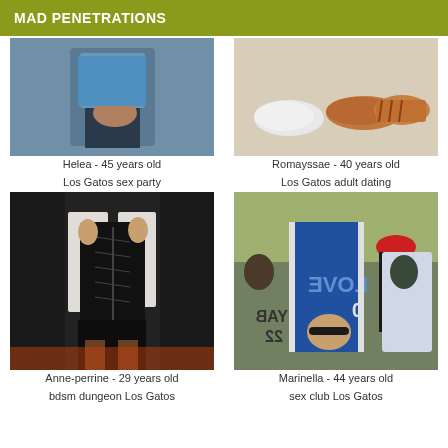MAD PENETRATIONS
[Figure (photo): Close-up of a person in blue shirt and dark pants]
Helea - 45 years old
[Figure (photo): Shoes on a light surface - white slippers and brown leather shoes]
Romayssae - 40 years old
Los Gatos sex party
Los Gatos adult dating
[Figure (photo): Woman in black corset and skirt opening a white shirt]
Anne-perrine - 29 years old
[Figure (photo): Crowd at outdoor event, person in blue basketball jersey number 22]
Marinella - 44 years old
bdsm dungeon Los Gatos
sex club Los Gatos